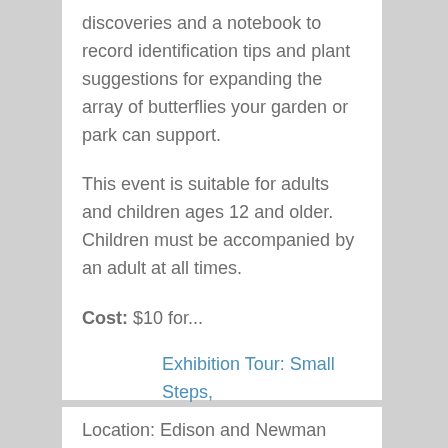discoveries and a notebook to record identification tips and plant suggestions for expanding the array of butterflies your garden or park can support.
This event is suitable for adults and children ages 12 and older. Children must be accompanied by an adult at all times.
Cost: $10 for...
Exhibition Tour: Small Steps, Giant Leaps
Location: Edison and Newman